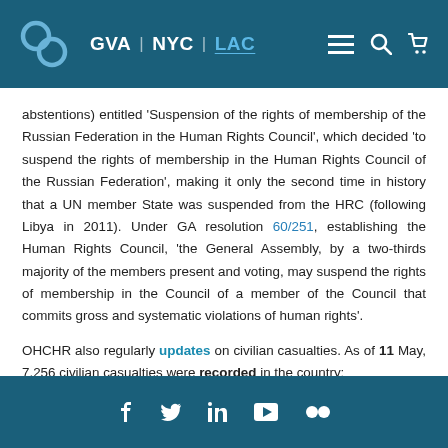GVA | NYC | LAC
abstentions) entitled 'Suspension of the rights of membership of the Russian Federation in the Human Rights Council', which decided 'to suspend the rights of membership in the Human Rights Council of the Russian Federation', making it only the second time in history that a UN member State was suspended from the HRC (following Libya in 2011). Under GA resolution 60/251, establishing the Human Rights Council, 'the General Assembly, by a two-thirds majority of the members present and voting, may suspend the rights of membership in the Council of a member of the Council that commits gross and systematic violations of human rights'.
OHCHR also regularly updates on civilian casualties. As of 11 May, 7,256 civilian casualties were recorded in the country:
f  tw  in  yt  fl